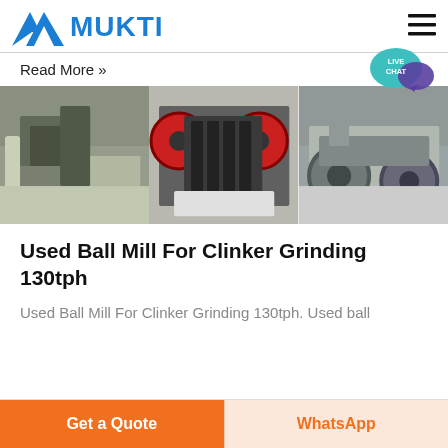[Figure (logo): Mukti company logo with blue triangular mountain-like icon and blue bold text MUKTI]
[Figure (illustration): Live Chat speech bubble icon in teal/blue with purple chat bubble]
Read More »
[Figure (photo): Three side-by-side photos of industrial mining/grinding machinery: aerial view of stone crushing plant, jaw crusher machine, and another industrial grinding/crushing machine]
Used Ball Mill For Clinker Grinding 130tph
Used Ball Mill For Clinker Grinding 130tph. Used ball
Get a Quote
WhatsApp